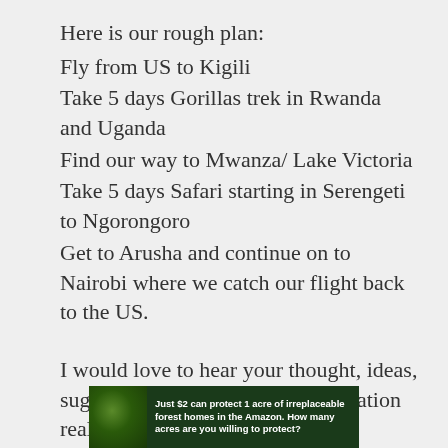Here is our rough plan:
Fly from US to Kigili
Take 5 days Gorillas trek in Rwanda and Uganda
Find our way to Mwanza/ Lake Victoria
Take 5 days Safari starting in Serengeti to Ngorongoro
Get to Arusha and continue on to Nairobi where we catch our flight back to the US.
I would love to hear your thought, ideas, suggestions or any helpful information really.
[Figure (other): Advertisement banner: Just $2 can protect 1 acre of irreplaceable forest homes in the Amazon. How many acres are you willing to protect?]